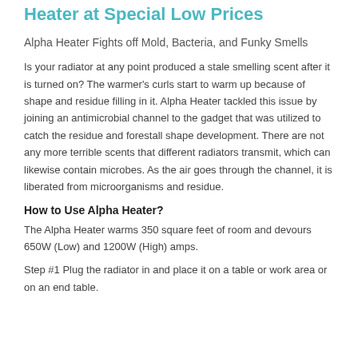Heater at Special Low Prices
Alpha Heater Fights off Mold, Bacteria, and Funky Smells
Is your radiator at any point produced a stale smelling scent after it is turned on? The warmer's curls start to warm up because of shape and residue filling in it. Alpha Heater tackled this issue by joining an antimicrobial channel to the gadget that was utilized to catch the residue and forestall shape development. There are not any more terrible scents that different radiators transmit, which can likewise contain microbes. As the air goes through the channel, it is liberated from microorganisms and residue.
How to Use Alpha Heater?
The Alpha Heater warms 350 square feet of room and devours 650W (Low) and 1200W (High) amps.
Step #1 Plug the radiator in and place it on a table or work area or on an end table.